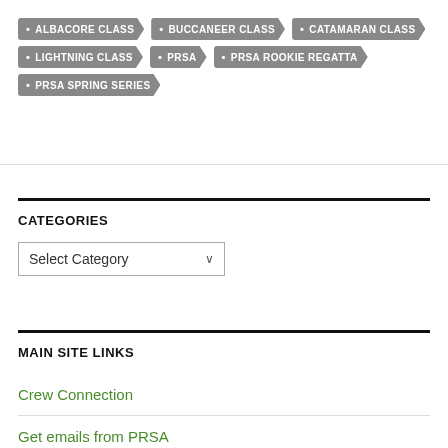ALBACORE CLASS
BUCCANEER CLASS
CATAMARAN CLASS
LIGHTNING CLASS
PRSA
PRSA ROOKIE REGATTA
PRSA SPRING SERIES
CATEGORIES
Select Category
MAIN SITE LINKS
Crew Connection
Get emails from PRSA